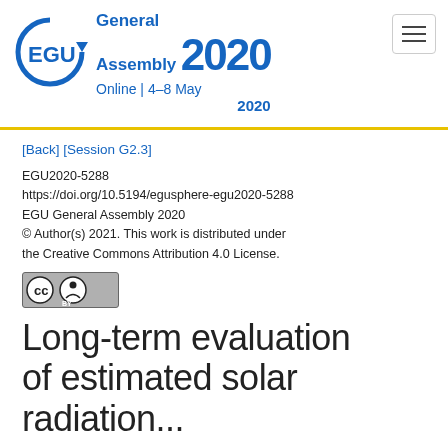EGU General Assembly 2020 Online | 4–8 May 2020
[Back] [Session G2.3]
EGU2020-5288
https://doi.org/10.5194/egusphere-egu2020-5288
EGU General Assembly 2020
© Author(s) 2021. This work is distributed under the Creative Commons Attribution 4.0 License.
[Figure (logo): Creative Commons CC BY license badge]
Long-term evaluation of estimated solar radiation...